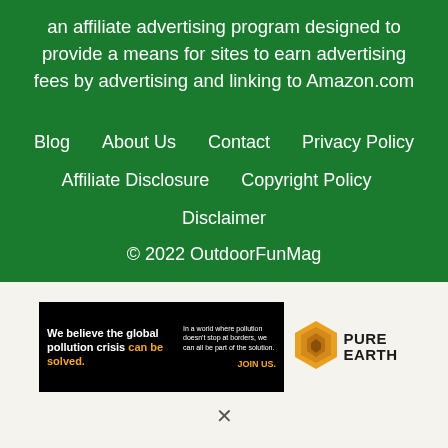an affiliate advertising program designed to provide a means for sites to earn advertising fees by advertising and linking to Amazon.com
Blog   About Us   Contact   Privacy Policy   Affiliate Disclosure   Copyright Policy   Disclaimer
© 2022 OutdoorFunMag
[Figure (illustration): Pure Earth advertisement banner: black background with text 'We believe the global pollution crisis can be solved.' and 'In a world where pollution doesn't stop at borders, we can all be part of the solution. JOIN US.' with Pure Earth logo (orange/yellow diamond shape with leaf pattern) and PURE EARTH text in bold.]